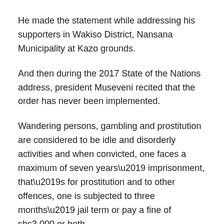He made the statement while addressing his supporters in Wakiso District, Nansana Municipality at Kazo grounds.
And then during the 2017 State of the Nations address, president Museveni recited that the order has never been implemented.
Wandering persons, gambling and prostitution are considered to be idle and disorderly activities and when convicted, one faces a maximum of seven years’ imprisonment, that’s for prostitution and to other offences, one is subjected to three months’ jail term or pay a fine of shs3,000 or both.